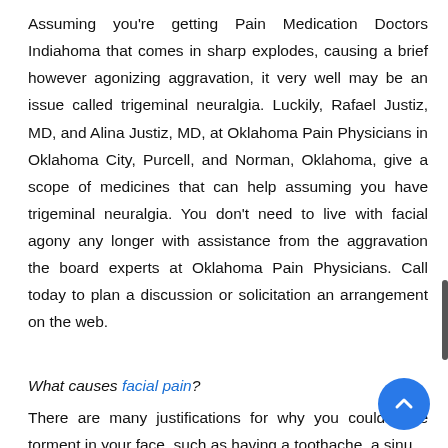Assuming you're getting Pain Medication Doctors Indiahoma that comes in sharp explodes, causing a brief however agonizing aggravation, it very well may be an issue called trigeminal neuralgia. Luckily, Rafael Justiz, MD, and Alina Justiz, MD, at Oklahoma Pain Physicians in Oklahoma City, Purcell, and Norman, Oklahoma, give a scope of medicines that can help assuming you have trigeminal neuralgia. You don't need to live with facial agony any longer with assistance from the aggravation the board experts at Oklahoma Pain Physicians. Call today to plan a discussion or solicitation an arrangement on the web.
What causes facial pain?
There are many justifications for why you could have torment in your face, such as having a toothache, a sinus...